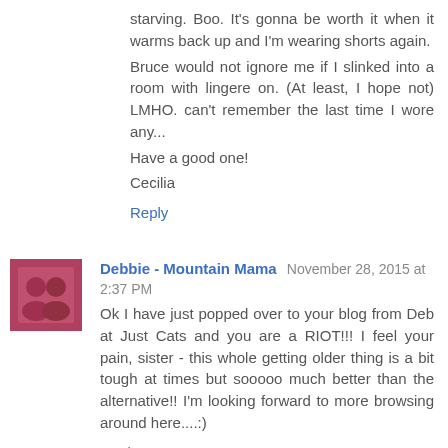starving. Boo. It's gonna be worth it when it warms back up and I'm wearing shorts again.
Bruce would not ignore me if I slinked into a room with lingere on. (At least, I hope not) LMHO. can't remember the last time I wore any...
Have a good one!
Cecilia
Reply
Debbie - Mountain Mama  November 28, 2015 at 2:37 PM
Ok I have just popped over to your blog from Deb at Just Cats and you are a RIOT!!! I feel your pain, sister - this whole getting older thing is a bit tough at times but sooooo much better than the alternative!! I'm looking forward to more browsing around here....:)
Reply
Art and Sand  November 28, 2015 at 10:02 PM
I was so healthy for 4 months before my son's wedding - no